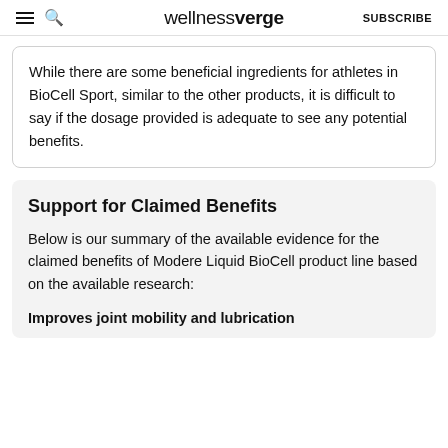wellnessverge | SUBSCRIBE
While there are some beneficial ingredients for athletes in BioCell Sport, similar to the other products, it is difficult to say if the dosage provided is adequate to see any potential benefits.
Support for Claimed Benefits
Below is our summary of the available evidence for the claimed benefits of Modere Liquid BioCell product line based on the available research:
Improves joint mobility and lubrication